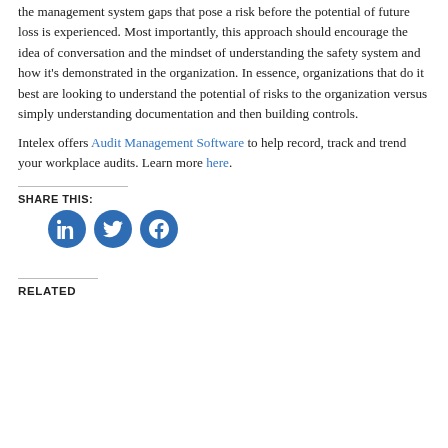the management system gaps that pose a risk before the potential of future loss is experienced. Most importantly, this approach should encourage the idea of conversation and the mindset of understanding the safety system and how it's demonstrated in the organization. In essence, organizations that do it best are looking to understand the potential of risks to the organization versus simply understanding documentation and then building controls.
Intelex offers Audit Management Software to help record, track and trend your workplace audits. Learn more here.
SHARE THIS:
[Figure (other): Three circular social media icon buttons: LinkedIn, Twitter, Facebook — all in blue]
RELATED